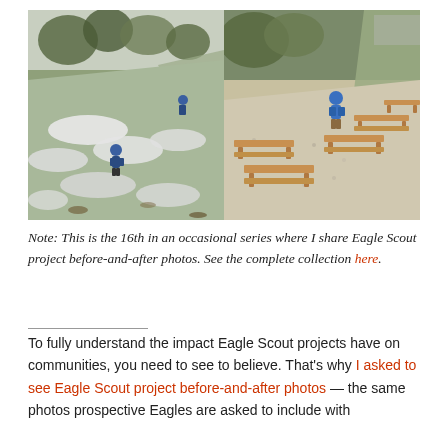[Figure (photo): Side-by-side before-and-after photos of an Eagle Scout project. Left photo shows a snowy hillside with two people in blue jackets. Right photo shows the completed project: wooden benches arranged on a gravel area, with a person in blue standing nearby.]
Note: This is the 16th in an occasional series where I share Eagle Scout project before-and-after photos. See the complete collection here.
To fully understand the impact Eagle Scout projects have on communities, you need to see to believe. That's why I asked to see Eagle Scout project before-and-after photos — the same photos prospective Eagles are asked to include with